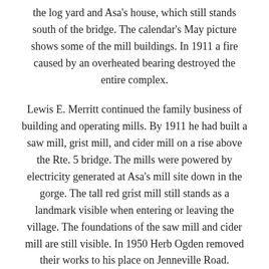the log yard and Asa's house, which still stands south of the bridge. The calendar's May picture shows some of the mill buildings. In 1911 a fire caused by an overheated bearing destroyed the entire complex.
Lewis E. Merritt continued the family business of building and operating mills. By 1911 he had built a saw mill, grist mill, and cider mill on a rise above the Rte. 5 bridge. The mills were powered by electricity generated at Asa's mill site down in the gorge. The tall red grist mill still stands as a landmark visible when entering or leaving the village. The foundations of the saw mill and cider mill are still visible. In 1950 Herb Ogden removed their works to his place on Jenneville Road.
Besides the house where, it was said, the gardens were the showpiece of the Village, there was a Merritt farm. It was just up the hill from the Quechee Road on what is